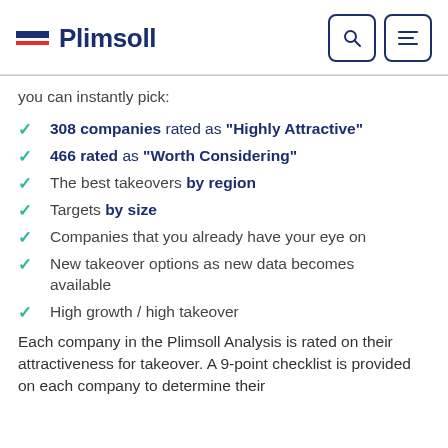Plimsoll
you can instantly pick:
308 companies rated as "Highly Attractive"
466 rated as "Worth Considering"
The best takeovers by region
Targets by size
Companies that you already have your eye on
New takeover options as new data becomes available
High growth / high takeover
Each company in the Plimsoll Analysis is rated on their attractiveness for takeover. A 9-point checklist is provided on each company to determine their